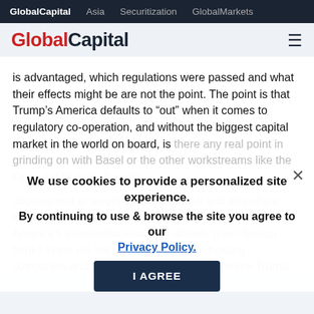GlobalCapital  Asia  Securitization  GlobalMarkets
[Figure (logo): GlobalCapital logo with red 'Global' and dark blue 'Capital' text, hamburger menu icon on right]
is advantaged, which regulations were passed and what their effects might be are not the point. The point is that Trump’s America defaults to “out” when it comes to regulatory co-operation, and without the biggest capital market in the world on board, is there any real point in grinding on with Basel or the other workstreams like the Financial Stability Board?
We use cookies to provide a personalized site experience.
By continuing to use & browse the site you agree to our Privacy Policy.
I AGREE
documented at length in GlobalCapital and elsewhere. But the answer is surely to fix those, not to drop out. America’s extraterritorialsm has already given foreign banks in the US the joy of intermediate holding companies and trapped capital, and even before Trump, many other...